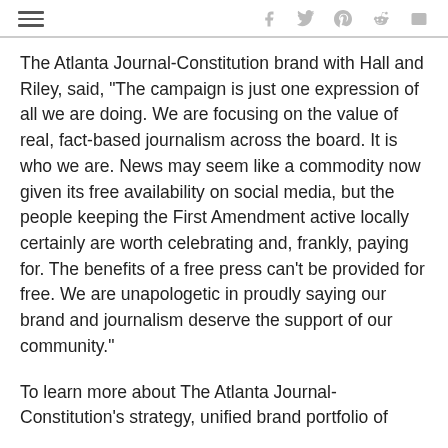[hamburger menu icon] [f] [twitter] [pinterest] [reddit] [mail]
The Atlanta Journal-Constitution brand with Hall and Riley, said, “The campaign is just one expression of all we are doing. We are focusing on the value of real, fact-based journalism across the board. It is who we are. News may seem like a commodity now given its free availability on social media, but the people keeping the First Amendment active locally certainly are worth celebrating and, frankly, paying for. The benefits of a free press can’t be provided for free. We are unapologetic in proudly saying our brand and journalism deserve the support of our community.”
To learn more about The Atlanta Journal-Constitution’s strategy, unified brand portfolio of